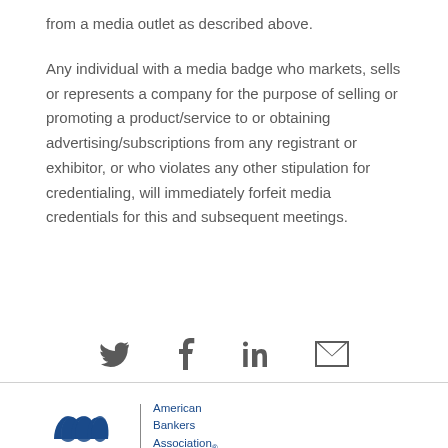from a media outlet as described above.
Any individual with a media badge who markets, sells or represents a company for the purpose of selling or promoting a product/service to or obtaining advertising/subscriptions from any registrant or exhibitor, or who violates any other stipulation for credentialing, will immediately forfeit media credentials for this and subsequent meetings.
[Figure (infographic): Social media share icons: Twitter bird, Facebook f, LinkedIn in, and email envelope icons]
[Figure (logo): American Bankers Association logo with ABA swoosh mark and text 'American Bankers Association.']